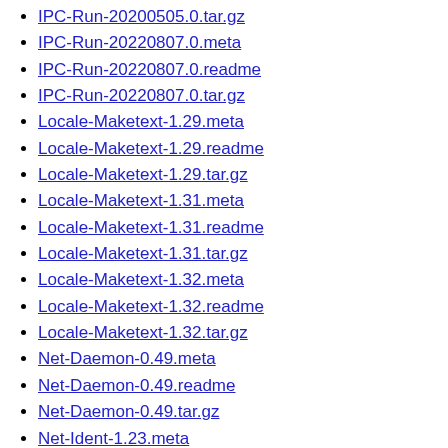IPC-Run-20200505.0.tar.gz
IPC-Run-20220807.0.meta
IPC-Run-20220807.0.readme
IPC-Run-20220807.0.tar.gz
Locale-Maketext-1.29.meta
Locale-Maketext-1.29.readme
Locale-Maketext-1.29.tar.gz
Locale-Maketext-1.31.meta
Locale-Maketext-1.31.readme
Locale-Maketext-1.31.tar.gz
Locale-Maketext-1.32.meta
Locale-Maketext-1.32.readme
Locale-Maketext-1.32.tar.gz
Net-Daemon-0.49.meta
Net-Daemon-0.49.readme
Net-Daemon-0.49.tar.gz
Net-Ident-1.23.meta
Net-Ident-1.23.readme
Net-Ident-1.23.tar.gz
Net-Ident-1.24.meta
Net-Ident-1.24.readme
Net-Ident-1.24.tar.gz
Net-Ident-1.25.meta
Net-Ident-1.25.readme
Net-Ident-1.25.tar.gz